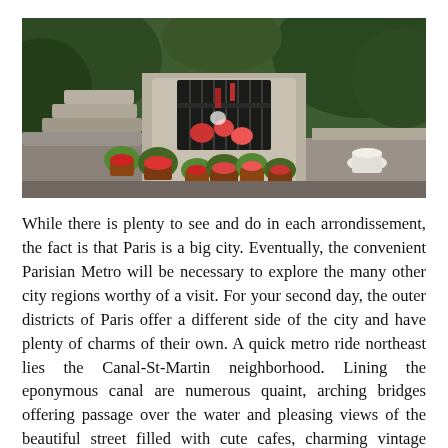[Figure (photo): A stone memorial or tomb decorated with potted red and pink flowers, surrounded by lush green bushes and trees. Stone steps are visible on the left side, and a decorative iron gate frames the central niche which contains flowers and mementos.]
While there is plenty to see and do in each arrondissement, the fact is that Paris is a big city. Eventually, the convenient Parisian Metro will be necessary to explore the many other city regions worthy of a visit. For your second day, the outer districts of Paris offer a different side of the city and have plenty of charms of their own. A quick metro ride northeast lies the Canal-St-Martin neighborhood. Lining the eponymous canal are numerous quaint, arching bridges offering passage over the water and pleasing views of the beautiful street filled with cute cafes, charming vintage clothing stores, and other enticing spots with bohemian flair.